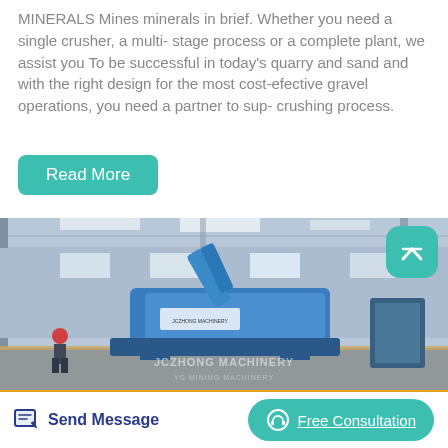MINERALS Mines minerals in brief. Whether you need a single crusher, a multi- stage process or a complete plant, we assist you To be successful in today's quarry and sand and with the right design for the most cost-efective gravel operations, you need a partner to sup- crushing process.
Read More
[Figure (photo): Factory floor photograph showing a blue industrial machine (crusher/machinery) with a crane arm, workers in the background, inside a large industrial warehouse. Watermark text: JCZHONG MACHINERY.]
Send Message
Free Consultation